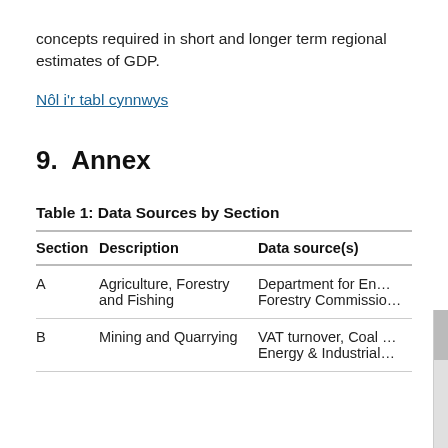concepts required in short and longer term regional estimates of GDP.
Nôl i'r tabl cynnwys
9.  Annex
Table 1: Data Sources by Section
| Section | Description | Data source(s) |
| --- | --- | --- |
| A | Agriculture, Forestry and Fishing | Department for En… Forestry Commissio… |
| B | Mining and Quarrying | VAT turnover, Coal … Energy & Industrial… |